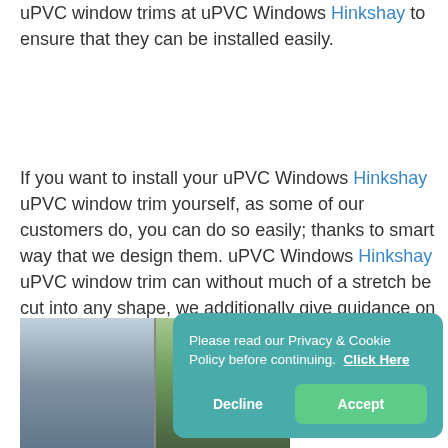uPVC window trims at uPVC Windows Hinkshay to ensure that they can be installed easily.
If you want to install your uPVC Windows Hinkshay uPVC window trim yourself, as some of our customers do, you can do so easily; thanks to smart way that we design them. uPVC Windows Hinkshay uPVC window trim can without much of a stretch be cut into any shape, we additionally give guidance on the most proficient method to do it effectively. We can also hammer the uPVC Windows Hinkshay uPVC window trim easily into place.
[Figure (photo): Partially visible photo showing uPVC window frames, with blurred outdoor greenery in background]
Please read our Privacy & Cookie Policy before continuing. Click Here